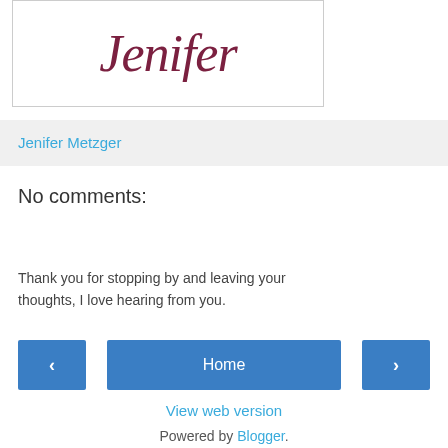[Figure (illustration): Cursive handwritten signature 'Jenifer' in dark red/maroon color inside a bordered box]
Jenifer Metzger
No comments:
Post a Comment
Thank you for stopping by and leaving your thoughts, I love hearing from you.
‹  Home  ›
View web version
Powered by Blogger.